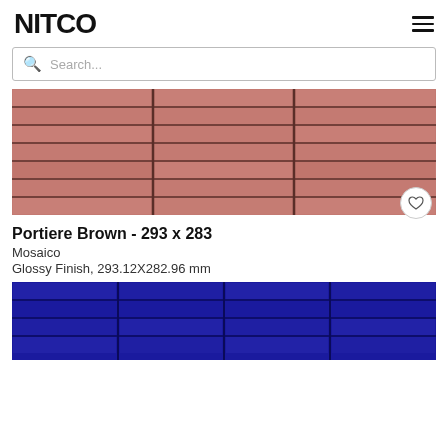NITCO
[Figure (screenshot): Search bar with magnifying glass icon and placeholder text 'Search...']
[Figure (photo): Brown/pink horizontal strip mosaic tiles (Portiere Brown) arranged in a grid of rows and columns]
Portiere Brown - 293 x 283
Mosaico
Glossy Finish, 293.12X282.96 mm
[Figure (photo): Dark blue horizontal strip mosaic tiles arranged in a grid of rows and columns (partially visible, cropped)]